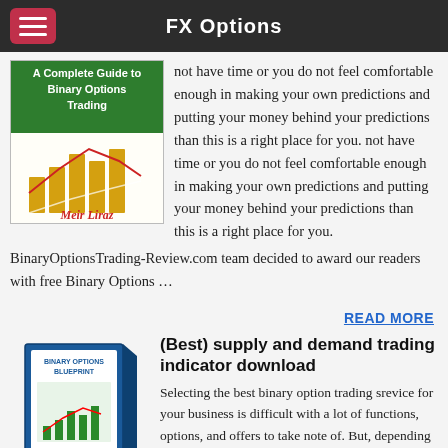FX Options
[Figure (illustration): Book cover: A Complete Guide to Binary Options Trading by Meir Liraz, with bar chart and red/white trend lines on white background]
not have time or you do not feel comfortable enough in making your own predictions and putting your money behind your predictions than this is a right place for you. BinaryOptionsTrading-Review.com team decided to award our readers with free Binary Options …
READ MORE
[Figure (illustration): Binary Options Blueprint book box cover with trading charts]
(Best) supply and demand trading indicator download
Selecting the best binary option trading srevice for your business is difficult with a lot of functions, options, and offers to take note of. But, depending on our review platform will allow you to streamline the selection steps by